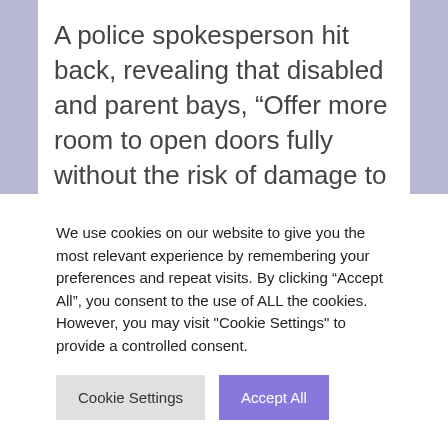A police spokesperson hit back, revealing that disabled and parent bays, “Offer more room to open doors fully without the risk of damage to other road users,” thus making it easier for officers to place handcuffed offenders inside the car.
We use cookies on our website to give you the most relevant experience by remembering your preferences and repeat visits. By clicking “Accept All”, you consent to the use of ALL the cookies. However, you may visit "Cookie Settings" to provide a controlled consent.